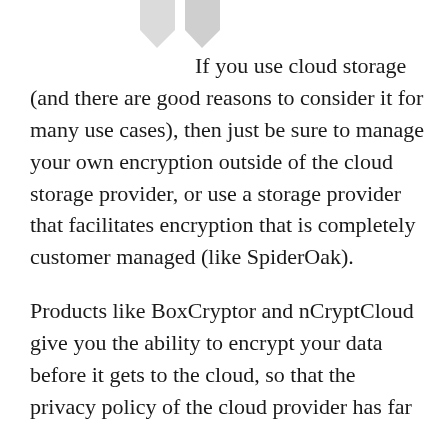[Figure (illustration): Partial decorative icons visible at top of page]
If you use cloud storage (and there are good reasons to consider it for many use cases), then just be sure to manage your own encryption outside of the cloud storage provider, or use a storage provider that facilitates encryption that is completely customer managed (like SpiderOak).
Products like BoxCryptor and nCryptCloud give you the ability to encrypt your data before it gets to the cloud, so that the privacy policy of the cloud provider has far